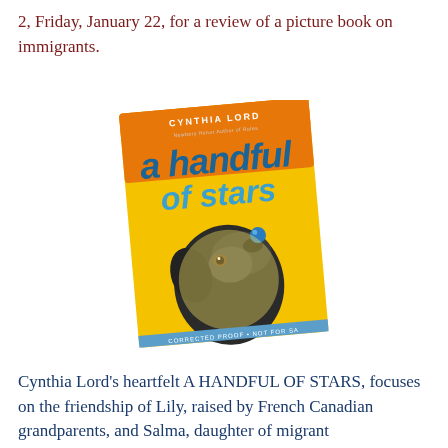2, Friday, January 22, for a review of a picture book on immigrants.
[Figure (photo): Book cover of 'A Handful of Stars' by Cynthia Lord, showing a yellow background with a black Labrador dog balancing a blue ball on its nose, looking upward. Text on cover reads 'CYNTHIA LORD', 'a handful of stars'. Bottom reads 'CORRECTED PROOF • NOT FOR SA']
Cynthia Lord's heartfelt A HANDFUL OF STARS, focuses on the friendship of Lily, raised by French Canadian grandparents, and Salma, daughter of migrant